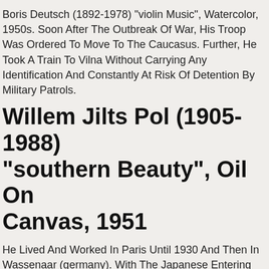Boris Deutsch (1892-1978) "violin Music", Watercolor, 1950s. Soon After The Outbreak Of War, His Troop Was Ordered To Move To The Caucasus. Further, He Took A Train To Vilna Without Carrying Any Identification And Constantly At Risk Of Detention By Military Patrols.
Willem Jilts Pol (1905-1988) "southern Beauty", Oil On Canvas, 1951
He Lived And Worked In Paris Until 1930 And Then In Wassenaar (germany). With The Japanese Entering Java, The Artist Found Himself In One War Prisoner Camp, And His Wife And Daughter - In Another. After The War Both He And His Wife Went Their Own Ways.
Hermes Scarf Vintage Gm Treille Muscadet 140 Cashmere Silk